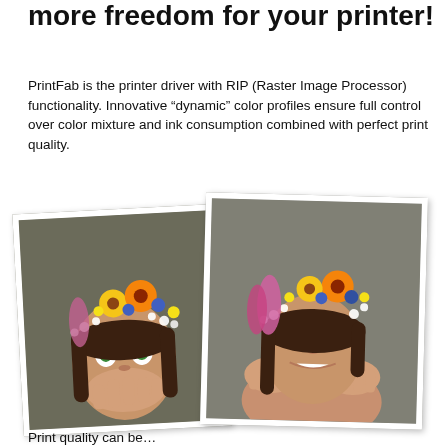more freedom for your printer!
PrintFab is the printer driver with RIP (Raster Image Processor) functionality. Innovative “dynamic” color profiles ensure full control over color mixture and ink consumption combined with perfect print quality.
[Figure (photo): Two overlapping photos of a young woman wearing a floral crown with sunflowers, daisies, and wildflowers. Left photo shows her covering her mouth with wide surprised eyes and green eye makeup. Right photo shows her looking up and smiling with hands supporting her face.]
Print quality can be…